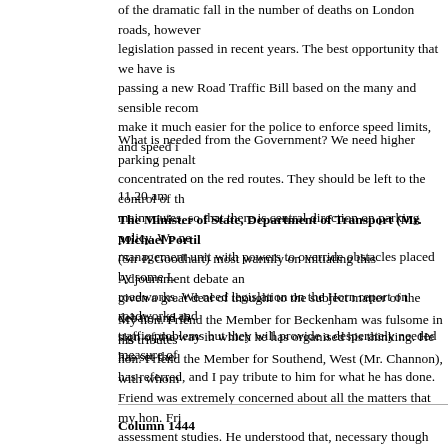of the dramatic fall in the number of deaths on London roads, however legislation passed in recent years. The best opportunity that we have is passing a new Road Traffic Bill based on the many and sensible recommendations make it much easier for the police to enforce speed limits, and speed is
What is needed from the Government? We need higher parking penalties concentrated on the red routes. They should be left to the control of the main routes, so that there is central direction on parking policy. We need a management unit with powers to override obstacles placed by some London roadworks. We need legislation on the Horn report on roadworks and other traffic problems but they will provide a desperately needed measure of
11.20 am
The Minister of State, Department of Transport (Mr. Michael Portil (Sir P. Goodhart) most warmly on initiating this Adjournment debate and given a great deal of thought to the subject matter of the debate and the sign of the way in which he has organised his thinking. He has set the has referred, and I pay tribute to him for what he has done.
My hon. Friend the Member for Beckenham was fulsome in his tributes hon. Friend the Member for Southend, West (Mr. Channon), with whom Friend was extremely concerned about all the matters that my hon. Friend assessment studies. He understood that, necessary though these studies consituencies of hon. Members on both sides of the House. My right hon rapidly as possible so as to end some of the uncertainty and the blight summer. There will then be a period for public comment before we decide forward. We have said already that we shall not support schemes which
Column 1444